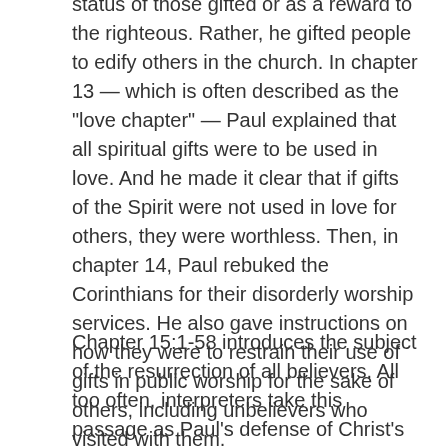status of those gifted or as a reward to the righteous. Rather, he gifted people to edify others in the church. In chapter 13 — which is often described as the "love chapter" — Paul explained that all spiritual gifts were to be used in love. And he made it clear that if gifts of the Spirit were not used in love for others, they were worthless. Then, in chapter 14, Paul rebuked the Corinthians for their disorderly worship services. He also gave instructions on how they were to restrain their use of gifts in public worship for the sake of others, including unbelievers who visited with them.
Chapter 15:1-58 introduces the subject of the resurrection of all believers. All too often, interpreters take this passage as Paul's defense of Christ's resurrection from the dead. But in light of the larger context, we can see that Paul's focus on Christ's